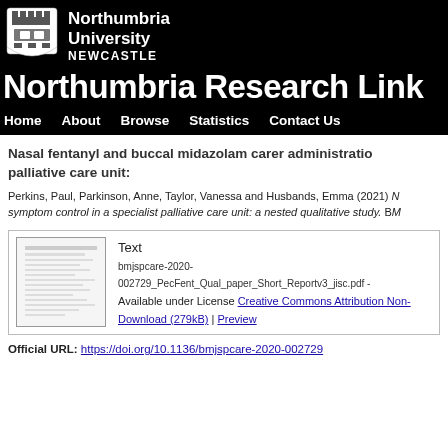[Figure (logo): Northumbria University Newcastle logo with shield emblem on black background header]
Northumbria Research Link
Home   About   Browse   Statistics   Contact Us
Nasal fentanyl and buccal midazolam carer administration in a specialist palliative care unit:
Perkins, Paul, Parkinson, Anne, Taylor, Vanessa and Husbands, Emma (2021) Nasal fentanyl and buccal midazolam carer administration for symptom control in a specialist palliative care unit: a nested qualitative study. BM
Text
bmjspcare-2020-002729_PecFent_Qual_paper_Short_Reportv3_jisc.pdf -
Available under License Creative Commons Attribution Non-
Download (279kB) | Preview
Official URL: https://doi.org/10.1136/bmjspcare-2020-002729